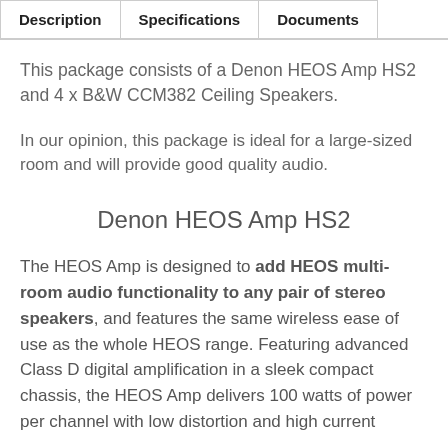Description | Specifications | Documents
This package consists of a Denon HEOS Amp HS2 and 4 x B&W CCM382 Ceiling Speakers.
In our opinion, this package is ideal for a large-sized room and will provide good quality audio.
Denon HEOS Amp HS2
The HEOS Amp is designed to add HEOS multi-room audio functionality to any pair of stereo speakers, and features the same wireless ease of use as the whole HEOS range. Featuring advanced Class D digital amplification in a sleek compact chassis, the HEOS Amp delivers 100 watts of power per channel with low distortion and high current